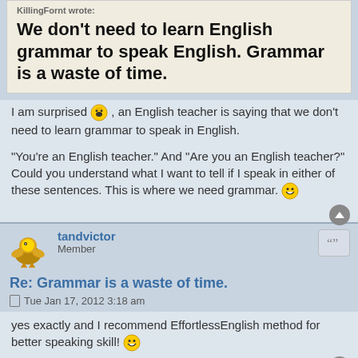KillingFornt wrote:
We don't need to learn English grammar to speak English. Grammar is a waste of time.
I am surprised 😮 , an English teacher is saying that we don't need to learn grammar to speak in English.
"You're an English teacher." And "Are you an English teacher?" Could you understand what I want to tell if I speak in either of these sentences. This is where we need grammar. 😄
tandvictor
Member
Re: Grammar is a waste of time.
Tue Jan 17, 2012 3:18 am
yes exactly and I recommend EffortlessEnglish method for better speaking skill! 😄
kminang